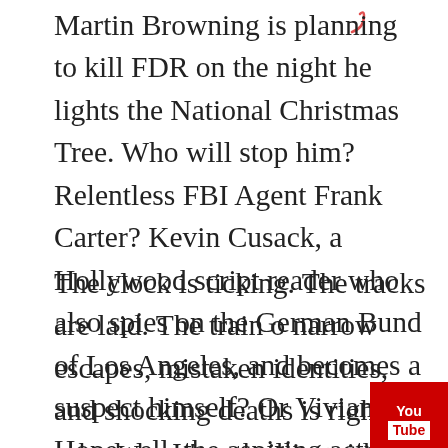Martin Browning is planning to kill FDR on the night he lights the National Christmas Tree. Who will stop him? Relentless FBI Agent Frank Carter? Kevin Cusack, a Hollywood script reader who also spies on the German Bund of Los Angeles, and becomes a suspect himself? Or Vivian Hopewell, the aspiring actress who signs on to play Martin Browning's wi and cannot help but fall in love with him?
The clock is ticking. The tracks are laid. The train o narrow escapes, mistaken identities, and shocking deaths is right on schedule. It's a thrilling ride that will sweep you from the back lots of Hollywood to the speeding Super Chief to that solemn Christmas Eve, when twenty thousand people gather on the South Lawn of the White House and the lives of Franklin Roosevelt and his surprise guest, Winston Churchill,